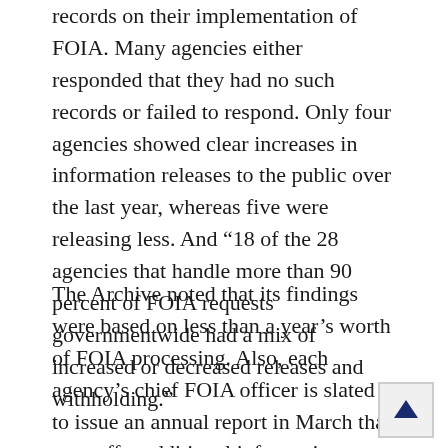records on their implementation of FOIA. Many agencies either responded that they had no such records or failed to respond. Only four agencies showed clear increases in information releases to the public over the last year, whereas five were releasing less. And ‘18 of the 28 agencies that handle more than 90 percent of FOIA requests governmentwide had a mix of increased or decreased releases and withholding.”
The Archive noted that its findings were based on less than a year’s worth of FOIA processing. Also, each agency’s chief FOIA officer is slated to issue an annual report in March that may offer additional information on the Obama Administration’s progress in implementing its open government principles.